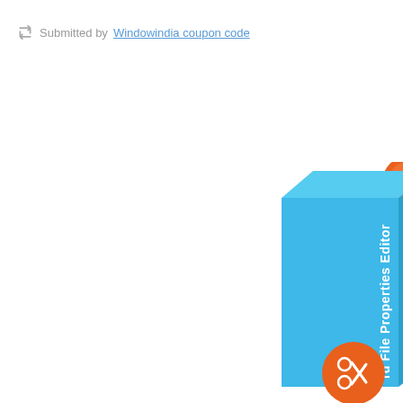Submitted by Windowindia coupon code
[Figure (illustration): Partial view of a software product box for 'Word File Properties Editor' in blue with orange accents including a scissors/coupon icon badge. Box is shown at a 3D angle, partially cropped at the right edge of the page.]